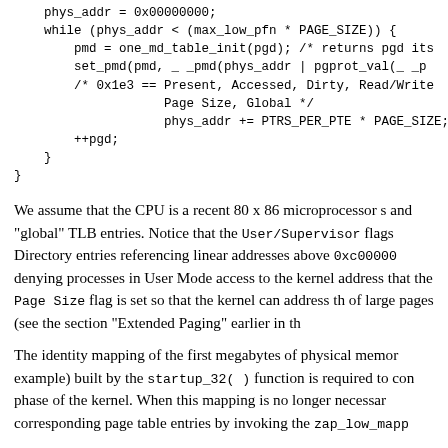phys_addr = 0x00000000;
    while (phys_addr < (max_low_pfn * PAGE_SIZE)) {
        pmd = one_md_table_init(pgd); /* returns pgd its
        set_pmd(pmd, _ _pmd(phys_addr | pgprot_val(_ _p
        /* 0x1e3 == Present, Accessed, Dirty, Read/Write
                    Page Size, Global */
                    phys_addr += PTRS_PER_PTE * PAGE_SIZE;
        ++pgd;
    }
}
We assume that the CPU is a recent 80 x 86 microprocessor s and "global" TLB entries. Notice that the User/Supervisor flags Directory entries referencing linear addresses above 0xc00000 denying processes in User Mode access to the kernel address that the Page Size flag is set so that the kernel can address th of large pages (see the section "Extended Paging" earlier in th
The identity mapping of the first megabytes of physical memor example) built by the startup_32( ) function is required to con phase of the kernel. When this mapping is no longer necessar corresponding page table entries by invoking the zap_low_mapp
Actually, this description does not state the whole truth. As we section "Fix-Mapped Linear Addresses," the kernel also adjust Tables corresponding to the "fix-mapped linear addresses".